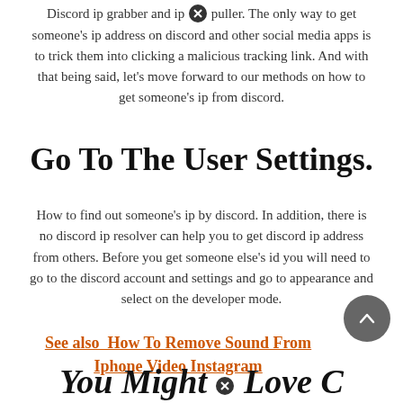Discord ip grabber and ip puller. The only way to get someone's ip address on discord and other social media apps is to trick them into clicking a malicious tracking link. And with that being said, let's move forward to our methods on how to get someone's ip from discord.
Go To The User Settings.
How to find out someone's ip by discord. In addition, there is no discord ip resolver can help you to get discord ip address from others. Before you get someone else's id you will need to go to the discord account and settings and go to appearance and select on the developer mode.
See also  How To Remove Sound From Iphone Video Instagram
You Might Love C